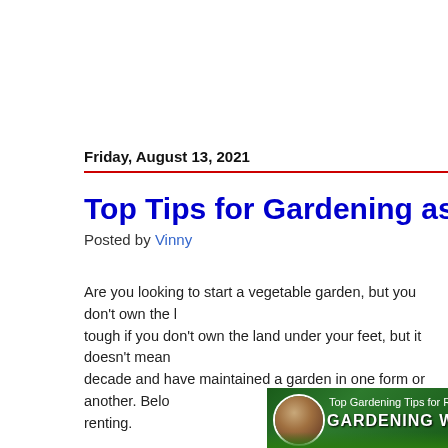Friday, August 13, 2021
Top Tips for Gardening as a Re
Posted by Vinny
Are you looking to start a vegetable garden, but you don't own the land? It can be tough if you don't own the land under your feet, but it doesn't mean you can't. I have been renting for over a decade and have maintained a garden in one form or another. Below are my top tips for gardening while renting.
[Figure (screenshot): Banner image for 'Top Gardening Tips for Renters' video titled 'GARDENING WHI...' with two people in a circle thumbnail on a green garden background]